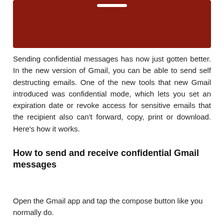[Figure (screenshot): Dark red/maroon rectangular banner image with a small white horizontal bar near the top center]
Sending confidential messages has now just gotten better. In the new version of Gmail, you can be able to send self destructing emails. One of the new tools that new Gmail introduced was confidential mode, which lets you set an expiration date or revoke access for sensitive emails that the recipient also can't forward, copy, print or download. Here's how it works.
How to send and receive confidential Gmail messages
Open the Gmail app and tap the compose button like you normally do.